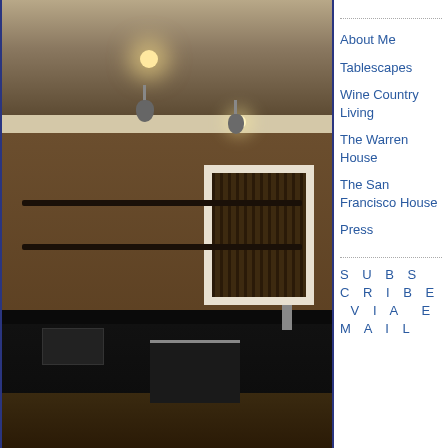[Figure (photo): Dark interior kitchen/bar area with pendant lights, floating shelves, black cabinetry, and a window with bamboo shade]
About Me
Tablescapes
Wine Country Living
The Warren House
The San Francisco House
Press
SUBSCRIBE VIA EMAIL